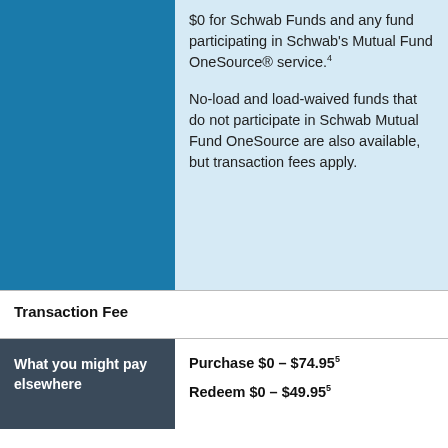$0 for Schwab Funds and any fund participating in Schwab's Mutual Fund OneSource® service.4
No-load and load-waived funds that do not participate in Schwab Mutual Fund OneSource are also available, but transaction fees apply.
Transaction Fee
| What you might pay elsewhere | Purchase $0 – $74.955 |
| --- | --- |
| What you might pay elsewhere | Purchase $0 – $74.955
Redeem $0 – $49.955 |